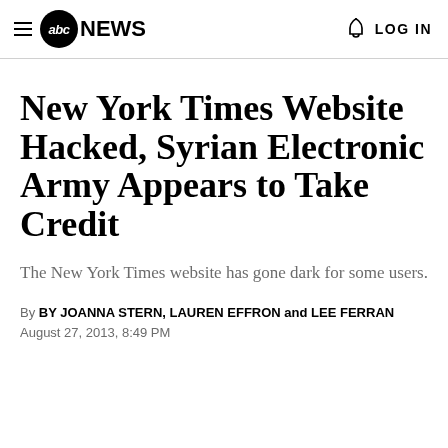≡ abcNEWS  🔔 LOG IN
New York Times Website Hacked, Syrian Electronic Army Appears to Take Credit
The New York Times website has gone dark for some users.
By BY JOANNA STERN, LAUREN EFFRON and LEE FERRAN
August 27, 2013, 8:49 PM